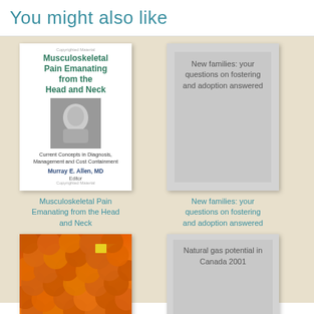You might also like
[Figure (illustration): Book cover: Musculoskeletal Pain Emanating from the Head and Neck, by Murray E. Allen, MD]
Musculoskeletal Pain Emanating from the Head and Neck
[Figure (illustration): Gray placeholder book cover: New families: your questions on fostering and adoption answered]
New families: your questions on fostering and adoption answered
[Figure (photo): Photo of many oranges/tangerines piled together, with a small yellow label visible]
[Figure (illustration): Gray placeholder book cover: Natural gas potential in Canada 2001]